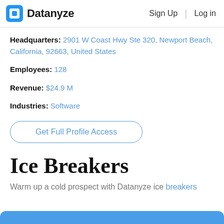Datanyze | Sign Up | Log in
Headquarters: 2901 W Coast Hwy Ste 320, Newport Beach, California, 92663, United States
Employees: 128
Revenue: $24.9 M
Industries: Software
Get Full Profile Access
Ice Breakers
Warm up a cold prospect with Datanyze ice breakers